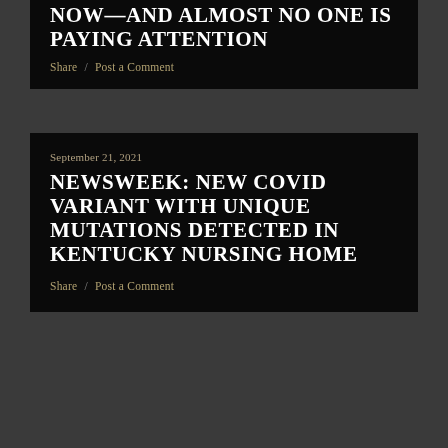NOW—AND ALMOST NO ONE IS PAYING ATTENTION
Share / Post a Comment
September 21, 2021
NEWSWEEK: NEW COVID VARIANT WITH UNIQUE MUTATIONS DETECTED IN KENTUCKY NURSING HOME
Share / Post a Comment